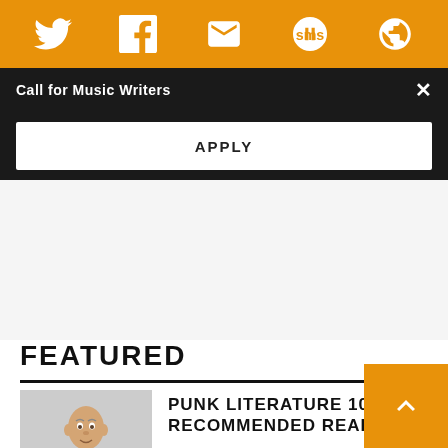[Figure (screenshot): Orange navigation bar with social media icons: Twitter, Facebook, email/envelope, SMS speech bubble, and a circular arrow/share icon, all white on orange background]
Call for Music Writers
APPLY
FEATURED
[Figure (photo): Older bald man in punk/rock attire reading a book, seated against white background]
PUNK LITERATURE 101: RECOMMENDED READINGS
BY IAIN ELLIS